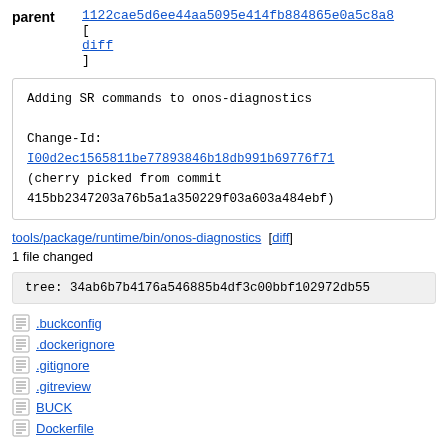parent 1122cae5d6ee44aa5095e414fb884865e0a5c8a8 [diff]
Adding SR commands to onos-diagnostics

Change-Id:
I00d2ec1565811be77893846b18db991b69776f71
(cherry picked from commit
415bb2347203a76b5a1a350229f03a603a484ebf)
tools/package/runtime/bin/onos-diagnostics [diff]
1 file changed
tree: 34ab6b7b4176a546885b4df3c00bbf102972db55
.buckconfig
.dockerignore
.gitignore
.gitreview
BUCK
Dockerfile